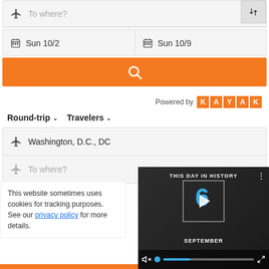[Figure (screenshot): Flight search widget - 'To where?' input field with airplane icon and swap button]
Sun 10/2
Sun 10/9
[Figure (screenshot): Orange search button with magnifying glass icon]
Powered by KAYAK
Round-trip  Travelers
Washington, D.C., DC
To where?
This website sometimes uses cookies for tracking purposes. See our privacy policy for more details.
[Figure (screenshot): THIS DAY IN HISTORY video overlay with play button, number 6, SEPTEMBER label, and video controls]